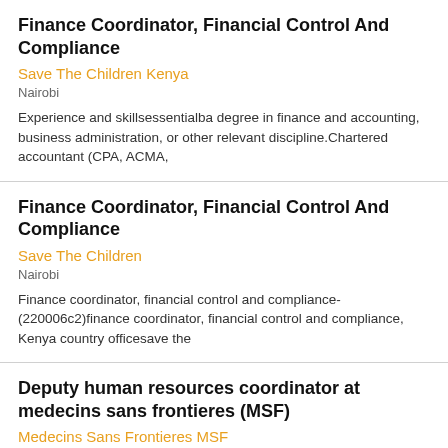Finance Coordinator, Financial Control And Compliance
Save The Children Kenya
Nairobi
Experience and skillsessentialba degree in finance and accounting, business administration, or other relevant discipline.Chartered accountant (CPA, ACMA,
Finance Coordinator, Financial Control And Compliance
Save The Children
Nairobi
Finance coordinator, financial control and compliance-(220006c2)finance coordinator, financial control and compliance, Kenya country officesave the
Deputy human resources coordinator at medecins sans frontieres (MSF)
Medecins Sans Frontieres MSF
Nairobi
Mā decins sans frontiā res (MSF) or doctors without borders, is an international humanitarian-aid non-governmental organization (NGO) and Nobel peace prize
Medical Supply Management D...